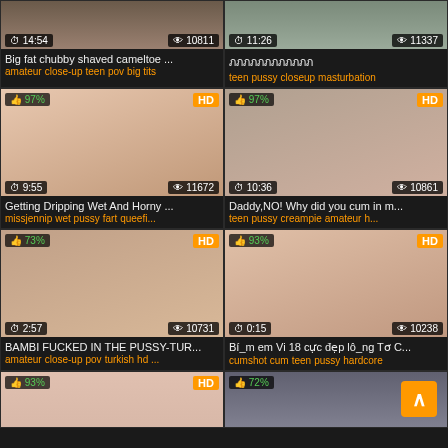[Figure (screenshot): Video thumbnail grid showing adult video website with 8 visible cards in 2-column layout. Each card shows thumbnail image, duration, view count, HD badge, like percentage, video title, and tags.]
Big fat chubby shaved cameltoe ... | amateur close-up teen pov big tits
ภภภภภภภภภภภภ | teen pussy closeup masturbation
Getting Dripping Wet And Horny ... | missjennip wet pussy fart queefi...
Daddy,NO! Why did you cum in m... | teen pussy creampie amateur h...
BAMBI FUCKED IN THE PUSSY-TUR... | amateur close-up pov turkish hd ...
Bí_m em Vi 18 cực đẹp lô_ng Tơ C... | cumshot cum teen pussy hardcore
93% HD | 72%